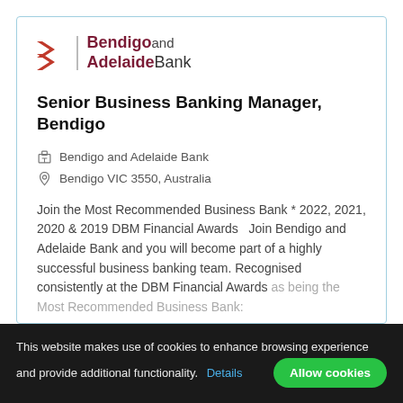[Figure (logo): Bendigo and Adelaide Bank logo with red chevron arrows on the left and stylized text on the right]
Senior Business Banking Manager, Bendigo
Bendigo and Adelaide Bank
Bendigo VIC 3550, Australia
Join the Most Recommended Business Bank * 2022, 2021, 2020 & 2019 DBM Financial Awards   Join Bendigo and Adelaide Bank and you will become part of a highly successful business banking team. Recognised consistently at the DBM Financial Awards as being the Most Recommended Business Bank:
This website makes use of cookies to enhance browsing experience and provide additional functionality.  Details  Allow cookies